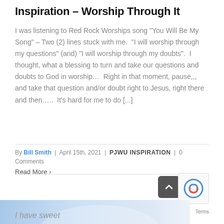Inspiration – Worship Through It
I was listening to Red Rock Worships song "You Will Be My Song" – Two (2) lines stuck with me.  "I will worship through my questions" (and) "I will worship through my doubts".  I thought, what a blessing to turn and take our questions and doubts to God in worship…  Right in that moment, pause,,, and take that question and/or doubt right to Jesus, right there and then…..  It's hard for me to do [...]
By Bill Smith  |  April 15th, 2021  |  PJWU INSPIRATION  |  0 Comments
Read More >